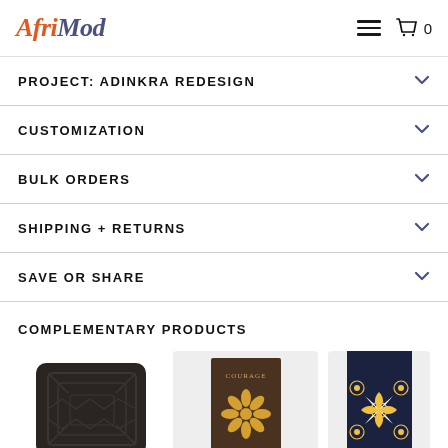AfriMod — navigation header with hamburger menu and cart icon showing 0
PROJECT: ADINKRA REDESIGN
CUSTOMIZATION
BULK ORDERS
SHIPPING + RETURNS
SAVE OR SHARE
COMPLEMENTARY PRODUCTS
[Figure (photo): Dark decorative pillow with geometric Adinkra pattern in dark brown/charcoal]
[Figure (photo): Book or journal with dark brown cover featuring COURAGE text and golden Adinkra symbol]
[Figure (photo): Navy blue item with gold and white decorative Adinkra floral pattern, partially visible]